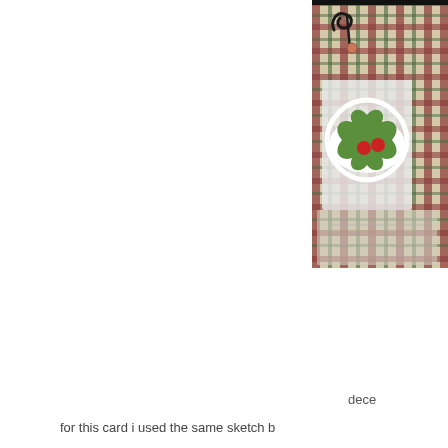[Figure (photo): Partial view of a Christmas card with a plaid/tartan background in red, green, and beige, featuring a green holly leaf decoration with red berries and a white wavy border. The card is shown at an angle with some accessories visible. The image is cropped on the right side.]
dece
for this card i used the same sketch b